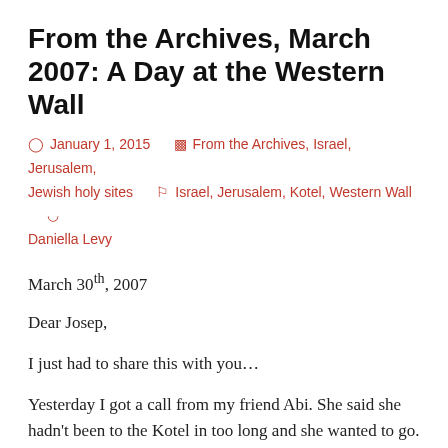From the Archives, March 2007: A Day at the Western Wall
January 1, 2015   From the Archives, Israel, Jerusalem, Jewish holy sites   Israel, Jerusalem, Kotel, Western Wall   Daniella Levy
March 30th, 2007
Dear Josep,
I just had to share this with you…
Yesterday I got a call from my friend Abi. She said she hadn't been to the Kotel in too long and she wanted to go. Could I come?
So I ditched all my psychometric exam studying, picked up my things and hopped on a bus to Jerusalem. Because when